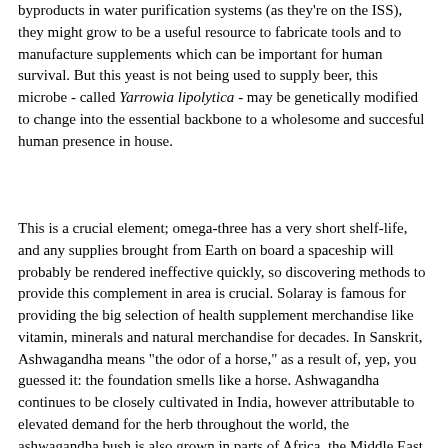byproducts in water purification systems (as they're on the ISS), they might grow to be a useful resource to fabricate tools and to manufacture supplements which can be important for human survival. But this yeast is not being used to supply beer, this microbe - called Yarrowia lipolytica - may be genetically modified to change into the essential backbone to a wholesome and succesful human presence in house.
This is a crucial element; omega-three has a very short shelf-life, and any supplies brought from Earth on board a spaceship will probably be rendered ineffective quickly, so discovering methods to provide this complement in area is crucial. Solaray is famous for providing the big selection of health supplement merchandise like vitamin, minerals and natural merchandise for decades. In Sanskrit, Ashwagandha means "the odor of a horse," as a result of, yep, you guessed it: the foundation smells like a horse. Ashwagandha continues to be closely cultivated in India, however attributable to elevated demand for the herb throughout the world, the ashwagandha bush is also grown in parts of Africa, the Middle East and even in temperate climates within the U.S. Because St. John's wort is marketed as a dietary supplement, it isn't regulated by the U.S. The lively therapeutic elements in St. John's wort are hypericin